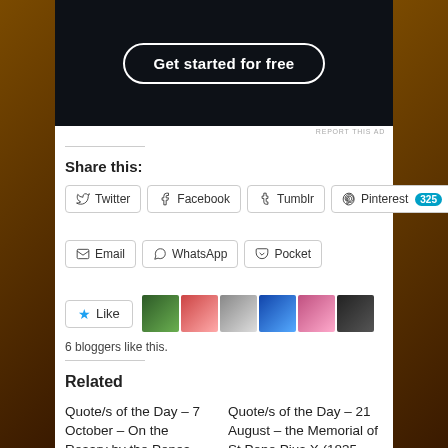[Figure (screenshot): Dark banner with 'Get started for free' button in rounded rectangle border]
REPORT THIS AD
Share this:
Twitter
Facebook
Tumblr
Pinterest 325
Email
WhatsApp
Pocket
Like
6 bloggers like this.
Related
Quote/s of the Day – 7 October – On the Rosary by the Popes – pre Vatican II...
Quote/s of the Day – 21 August – the Memorial of St Pope Pius X (1835–1914)